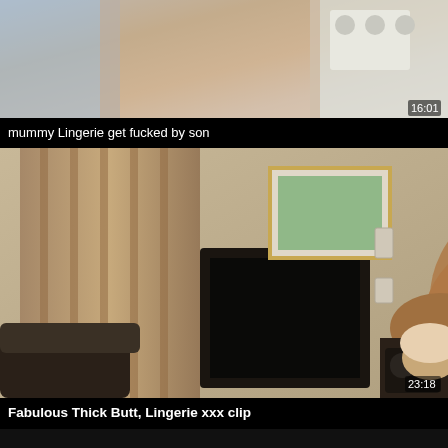[Figure (screenshot): Video thumbnail showing blurred scene with timestamp 16:01]
mummy Lingerie get fucked by son
[Figure (screenshot): Video thumbnail showing a person in a brown blouse in a living room, timestamp 23:18]
Fabulous Thick Butt, Lingerie xxx clip
[Figure (screenshot): Partial video thumbnail, dark/black]